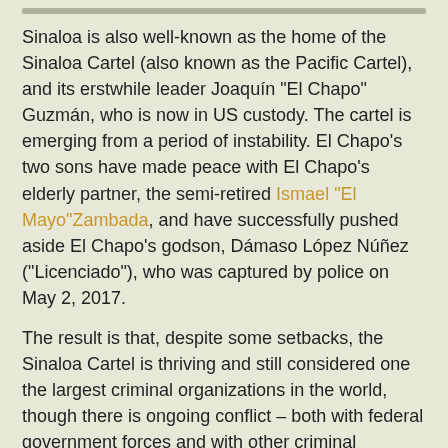Sinaloa is also well-known as the home of the Sinaloa Cartel (also known as the Pacific Cartel), and its erstwhile leader Joaquín "El Chapo" Guzmán, who is now in US custody. The cartel is emerging from a period of instability. El Chapo's two sons have made peace with El Chapo's elderly partner, the semi-retired Ismael "El Mayo"Zambada, and have successfully pushed aside El Chapo's godson, Dámaso López Núñez ("Licenciado"), who was captured by police on May 2, 2017.
The result is that, despite some setbacks, the Sinaloa Cartel is thriving and still considered one the largest criminal organizations in the world, though there is ongoing conflict – both with federal government forces and with other criminal organizations. Nonetheless, The Sinaloa Cartel has lost some control over street-level criminal activity in Culiacan and Mazatlán, as well as in some villages in the countryside.
The Sinaloa cartel appears to be taking the fight to the remnants of the Beltrán-Leyva Cartel and its henchmen Los Mazatlecos. This is most evident directly south of Sinaloa in...